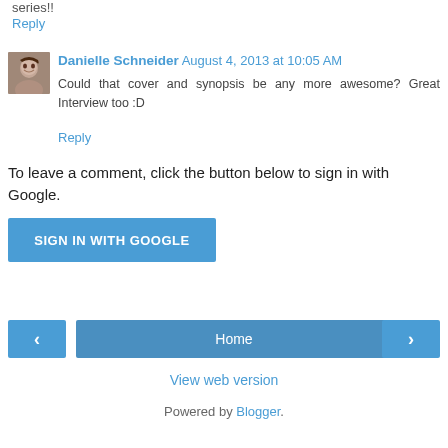series!!
Reply
Danielle Schneider  August 4, 2013 at 10:05 AM
[Figure (photo): Small avatar photo of Danielle Schneider]
Could that cover and synopsis be any more awesome? Great Interview too :D
Reply
To leave a comment, click the button below to sign in with Google.
SIGN IN WITH GOOGLE
Home
View web version
Powered by Blogger.